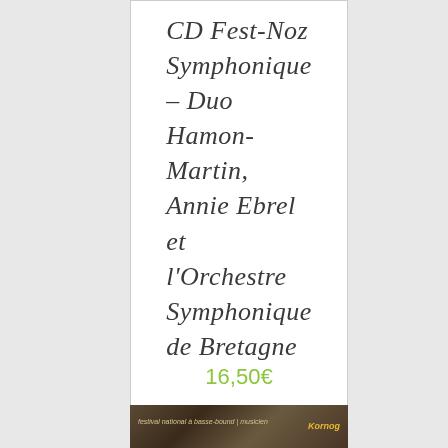CD Fest-Noz Symphonique – Duo Hamon-Martin, Annie Ebrel et l'Orchestre Symphonique de Bretagne
16,50€
[Figure (photo): Small thumbnail image at the bottom, appears to be a product/album image with dark tones and some text overlay including a logo]